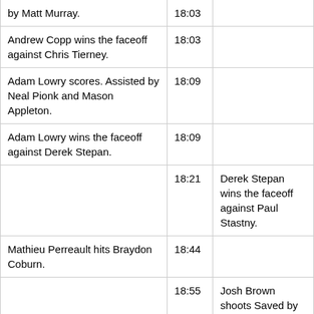| Home Team Event | Time | Away Team Event |
| --- | --- | --- |
| by Matt Murray. | 18:03 |  |
| Andrew Copp wins the faceoff against Chris Tierney. | 18:03 |  |
| Adam Lowry scores. Assisted by Neal Pionk and Mason Appleton. | 18:09 |  |
| Adam Lowry wins the faceoff against Derek Stepan. | 18:09 |  |
|  | 18:21 | Derek Stepan wins the faceoff against Paul Stastny. |
| Mathieu Perreault hits Braydon Coburn. | 18:44 |  |
|  | 18:55 | Josh Brown shoots Saved by Laurent Brossoit. |
| Mark Scheifele wins the faceoff against Chris Tierney. | 18:56 |  |